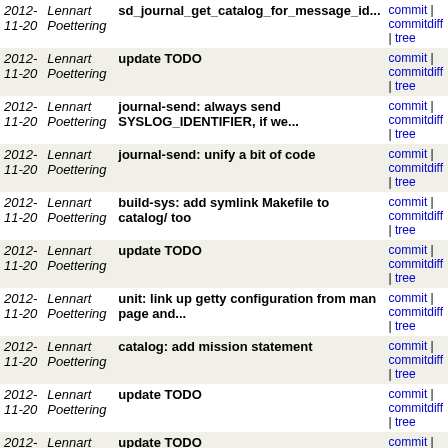| Date | Author | Message | Links |
| --- | --- | --- | --- |
| 2012-11-20 | Lennart Poettering | sd_journal_get_catalog_for_message_id... | commit | commitdiff | tree |
| 2012-11-20 | Lennart Poettering | update TODO | commit | commitdiff | tree |
| 2012-11-20 | Lennart Poettering | journal-send: always send SYSLOG_IDENTIFIER, if we... | commit | commitdiff | tree |
| 2012-11-20 | Lennart Poettering | journal-send: unify a bit of code | commit | commitdiff | tree |
| 2012-11-20 | Lennart Poettering | build-sys: add symlink Makefile to catalog/ too | commit | commitdiff | tree |
| 2012-11-20 | Lennart Poettering | update TODO | commit | commitdiff | tree |
| 2012-11-20 | Lennart Poettering | unit: link up getty configuration from man page and... | commit | commitdiff | tree |
| 2012-11-20 | Lennart Poettering | catalog: add mission statement | commit | commitdiff | tree |
| 2012-11-20 | Lennart Poettering | update TODO | commit | commitdiff | tree |
| 2012-11-20 | Lennart Poettering | update TODO | commit | commitdiff | tree |
| 2012-11-20 | Colin Walters | dbus-common: Add helper method to handle no-reply messages | commit | commitdiff | tree |
| 2012-11-20 | Nis Martensen | catalog: Spell out microseconds | commit | commitdiff | tree |
| 2012-11-19 | Lennart Poettering | journald: fix bad memory access | commit | commitdiff | tree |
| 2012-11-19 | Lennart Poettering | socket: improve error message when we | commit | commitdiff | tree |